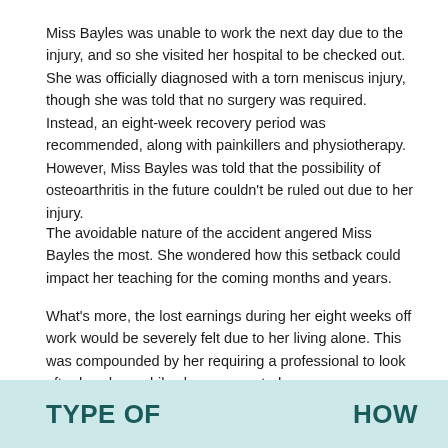Miss Bayles was unable to work the next day due to the injury, and so she visited her hospital to be checked out. She was officially diagnosed with a torn meniscus injury, though she was told that no surgery was required. Instead, an eight-week recovery period was recommended, along with painkillers and physiotherapy. However, Miss Bayles was told that the possibility of osteoarthritis in the future couldn't be ruled out due to her injury.
The avoidable nature of the accident angered Miss Bayles the most. She wondered how this setback could impact her teaching for the coming months and years.
What's more, the lost earnings during her eight weeks off work would be severely felt due to her living alone. This was compounded by her requiring a professional to look after her dogs while she recuperated.
After seeking the services of a lawyer, Miss Bayles made a compensation claim. She recovered £20,000. This included £17,800 in general damages and £2,200 in special damages.
TYPE OF   HOW